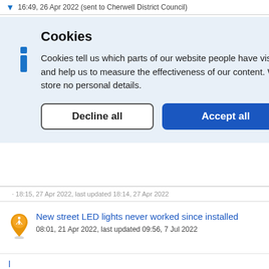16:49, 26 Apr 2022 (sent to Cherwell District Council)
Cookies
Cookies tell us which parts of our website people have visited, and help us to measure the effectiveness of our content. We store no personal details.
Decline all   Accept all
18:15, 27 Apr 2022, last updated 18:14, 27 Apr 2022
New street LED lights never worked since installed
08:01, 21 Apr 2022, last updated 09:56, 7 Jul 2022